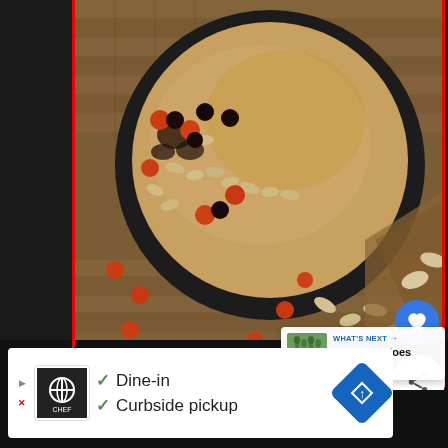[Figure (photo): Overhead shot of a smoothie bowl in a dark ceramic bowl with oats, red berries, dark berries, and spices on a wooden surface with scattered oats and berries around it]
[Figure (infographic): What's Next panel showing a thumbnail of green asparagus with text: WHAT'S NEXT → / How long does green...]
[Figure (screenshot): Ad banner with restaurant logo showing checkmarks for Dine-in and Curbside pickup, with a blue navigation diamond icon]
ꟸꟸꟸ°